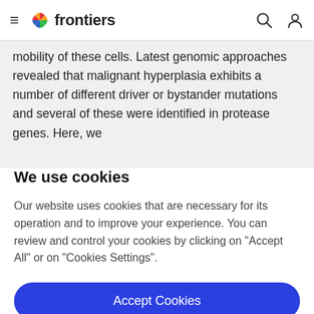frontiers
mobility of these cells. Latest genomic approaches revealed that malignant hyperplasia exhibits a number of different driver or bystander mutations and several of these were identified in protease genes. Here, we
We use cookies
Our website uses cookies that are necessary for its operation and to improve your experience. You can review and control your cookies by clicking on "Accept All" or on "Cookies Settings".
Accept Cookies
Cookies Settings